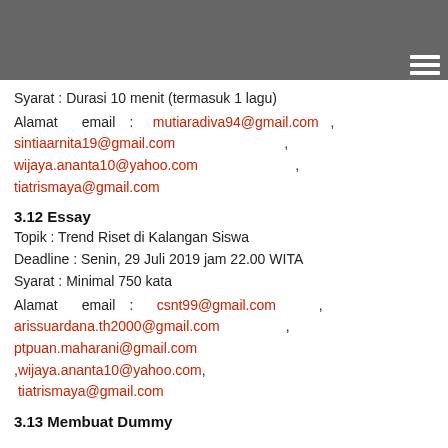Syarat : Durasi 10 menit (termasuk 1 lagu)
Alamat email : mutiaradiva94@gmail.com , sintiaarnita19@gmail.com , wijaya.ananta10@yahoo.com , tiatrismaya@gmail.com
3.12 Essay
Topik : Trend Riset di Kalangan Siswa
Deadline : Senin, 29 Juli 2019 jam 22.00 WITA
Syarat : Minimal 750 kata
Alamat email : csnt99@gmail.com , arissuardana.th2000@gmail.com , ptpuan.maharani@gmail.com ,wijaya.ananta10@yahoo.com, tiatrismaya@gmail.com
3.13 Membuat Dummy